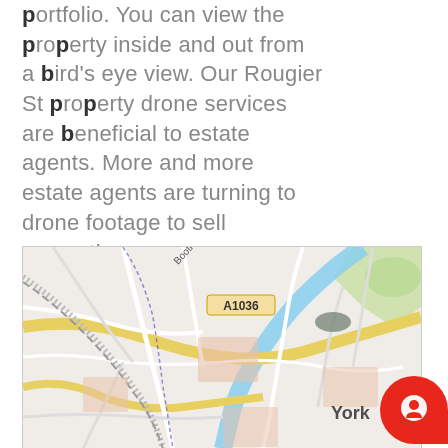portfolio. You can view the property inside and out from a bird's eye view. Our Rougier St property drone services are beneficial to estate agents. More and more estate agents are turning to drone footage to sell properties.
[Figure (map): Interactive map showing York city area with road network including A1036, River Ouse, and zoom controls (+/-). The map shows streets, green areas, and waterways around York city centre.]